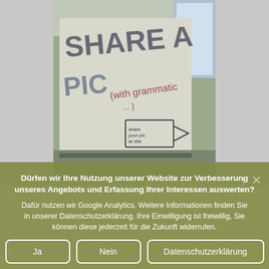[Figure (photo): A whiteboard or cardboard sign with handwritten text reading 'SHARE A PIC (with grammatic...)' and a hand-drawn arrow pointing right, photographed indoors.]
Dürfen wir Ihre Nutzung unserer Website zur Verbesserung unseres Angebots und Erfassung Ihrer Interessen auswerten? Dafür nutzen wir Google Analytics. Weitere Informationen finden Sie in unserer Datenschutzerklärung. Ihre Einwilligung ist freiwillig, Sie können diese jederzeit für die Zukunft widerrufen.